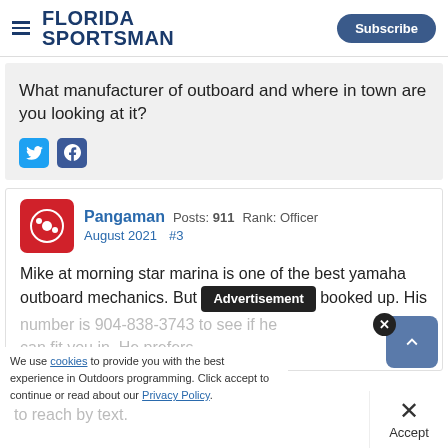FLORIDA SPORTSMAN | Subscribe
What manufacturer of outboard and where in town are you looking at it?
[Figure (other): Twitter and Facebook social share icons]
[Figure (other): User avatar icon for Pangaman - red rounded square with bowling ball graphic]
Pangaman Posts: 911 Rank: Officer
August 2021 #3
Mike at morning star marina is one of the best yamaha outboard mechanics. But he is normally booked up. His number is 904-838-3743 to see if he can fit you in. He prefers to reach by text.
We use cookies to provide you with the best experience in Outdoors programming. Click accept to continue or read about our Privacy Policy.